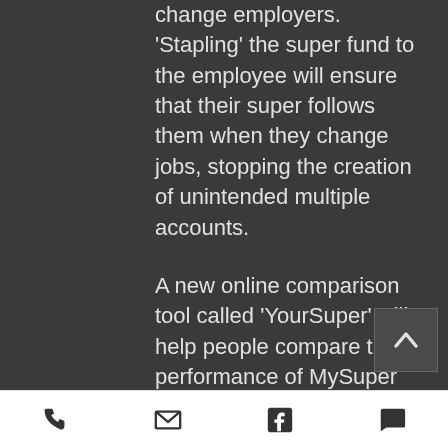change employers. 'Stapling' the super fund to the employee will ensure that their super follows them when they change jobs, stopping the creation of unintended multiple accounts.
A new online comparison tool called 'YourSuper' will help people compare the performance of MySuper products and make it easy to choose a fund.
Funds that continue to underperform will no longer be allowed to receive new members until their performance improves.
[phone] [email] [facebook] [chat]